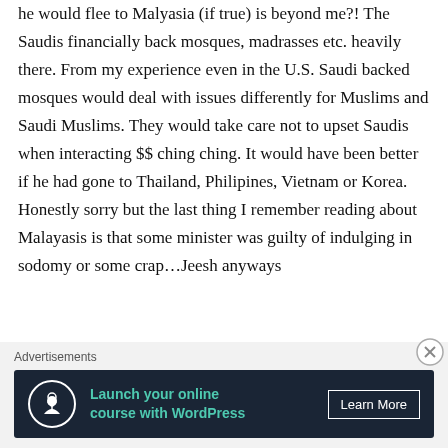he would flee to Malyasia (if true) is beyond me?! The Saudis financially back mosques, madrasses etc. heavily there. From my experience even in the U.S. Saudi backed mosques would deal with issues differently for Muslims and Saudi Muslims. They would take care not to upset Saudis when interacting $$ ching ching. It would have been better if he had gone to Thailand, Philipines, Vietnam or Korea. Honestly sorry but the last thing I remember reading about Malayasis is that some minister was guilty of indulging in sodomy or some crap…Jeesh anyways
Advertisements
[Figure (infographic): Advertisement banner with dark navy background: circular icon with person/tree symbol, teal text 'Launch your online course with WordPress', and white 'Learn More' button]